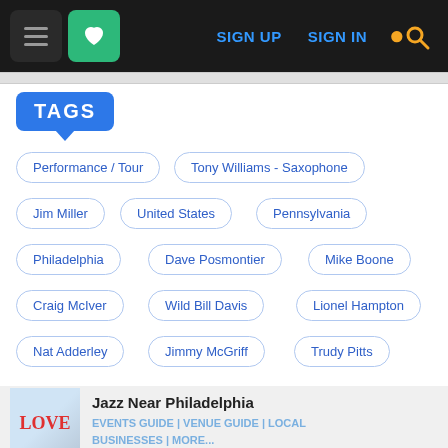[Figure (screenshot): Website navigation bar with hamburger menu, green heart icon, SIGN UP, SIGN IN links, and search icon]
TAGS
Performance / Tour
Tony Williams - Saxophone
Jim Miller
United States
Pennsylvania
Philadelphia
Dave Posmontier
Mike Boone
Craig McIver
Wild Bill Davis
Lionel Hampton
Nat Adderley
Jimmy McGriff
Trudy Pitts
Jazz Near Philadelphia
EVENTS GUIDE | VENUE GUIDE | LOCAL BUSINESSES | MORE...